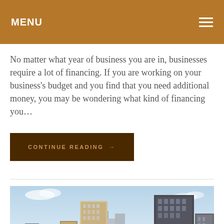MENU
No matter what year of business you are in, businesses require a lot of financing. If you are working on your business's budget and you find that you need additional money, you may be wondering what kind of financing you…
CONTINUE READING →
[Figure (photo): City skyline with skyscrapers under a clear blue sky, featuring modern office towers and a historic domed building in the foreground]